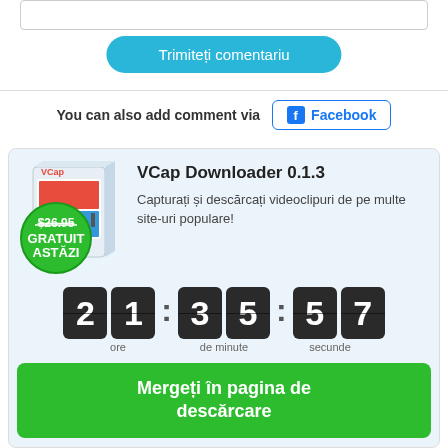[Figure (screenshot): Input text area at top of page]
Trimiteți comentariu
You can also add comment via  Facebook
[Figure (infographic): VCap Downloader 0.1.3 advertisement banner with product box image, countdown timer showing 21:35:57 (ore, de minute, secunde), green badge showing $26.95 GRATUIT ASTĂZI, and green download button]
Mergeți în pagina de descărcare